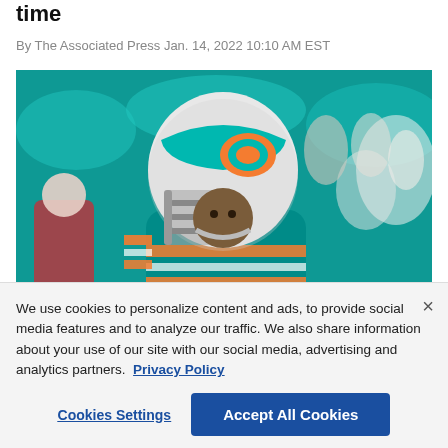time
By The Associated Press Jan. 14, 2022 10:10 AM EST
[Figure (photo): Miami Dolphins quarterback in teal uniform and white helmet with dolphin logo, scrambling during a game against the New England Patriots, with blurred crowd in teal seats in background.]
New England Patriots at Miami Dolphins 1/9/2022
We use cookies to personalize content and ads, to provide social media features and to analyze our traffic. We also share information about your use of our site with our social media, advertising and analytics partners.  Privacy Policy
Cookies Settings    Accept All Cookies